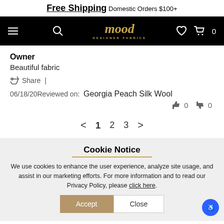Free Shipping Domestic Orders $100+
[Figure (logo): Mood Designer Fabrics navigation bar with hamburger menu, search icon, logo, heart icon, and cart icon showing 0 items]
Owner
Beautiful fabric
Share |
06/18/20 Reviewed on: Georgia Peach Silk Wool
thumbs up 0  thumbs down 0
< 1 2 3 >
Cookie Notice
We use cookies to enhance the user experience, analyze site usage, and assist in our marketing efforts. For more information and to read our Privacy Policy, please click here.
Accept  Close